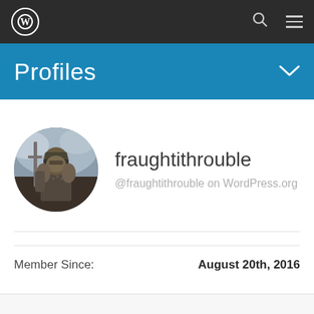WordPress navigation bar with logo, search, and menu icons
Profiles
[Figure (photo): Circular avatar photo showing a medieval knight or warrior in chainmail armor holding a sword, in a dramatic cloudy scene]
fraughtithrouble
@fraughtithrouble on WordPress.org
Member Since:
August 20th, 2016